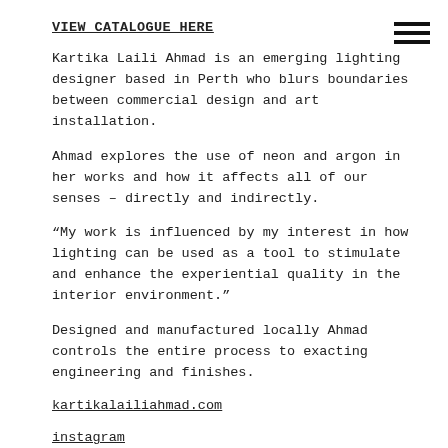VIEW CATALOGUE HERE
[Figure (illustration): Hamburger menu icon (three horizontal lines) in top-right corner]
Kartika Laili Ahmad is an emerging lighting designer based in Perth who blurs boundaries between commercial design and art installation.
Ahmad explores the use of neon and argon in her works and how it affects all of our senses – directly and indirectly.
“My work is influenced by my interest in how lighting can be used as a tool to stimulate and enhance the experiential quality in the interior environment.”
Designed and manufactured locally Ahmad controls the entire process to exacting engineering and finishes.
kartikalailiahmad.com
instagram
Image supplied by artist.